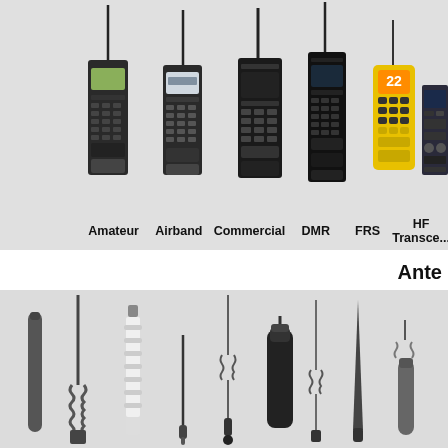[Figure (photo): Six handheld and desktop radio transceivers shown side by side: Amateur, Airband, Commercial, DMR, FRS, and HF Transceiver radios, each labeled below.]
Amateur   Airband   Commercial   DMR   FRS   HF Transceiver
Ante...
[Figure (photo): Various antenna types displayed side by side: rubber duck antennas, whip antennas, coil-loaded antennas, fiberglass base antennas, mobile antennas, and stubby antennas.]